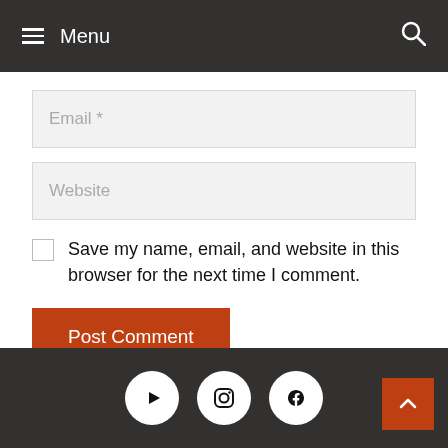Menu
Email *
Website
Save my name, email, and website in this browser for the next time I comment.
Post Comment
Social icons: YouTube, Instagram, Facebook